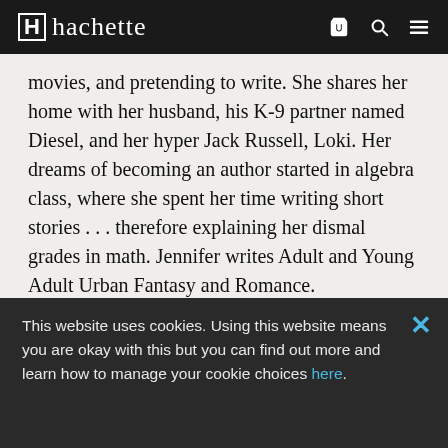hachette
movies, and pretending to write. She shares her home with her husband, his K-9 partner named Diesel, and her hyper Jack Russell, Loki. Her dreams of becoming an author started in algebra class, where she spent her time writing short stories . . . therefore explaining her dismal grades in math. Jennifer writes Adult and Young Adult Urban Fantasy and Romance.

Visit Jennifer's website: www.jenniferarmentrout.com, follow her on Twitter @JLArmentrout, or find her on Facebook:
This website uses cookies. Using this website means you are okay with this but you can find out more and learn how to manage your cookie choices here.